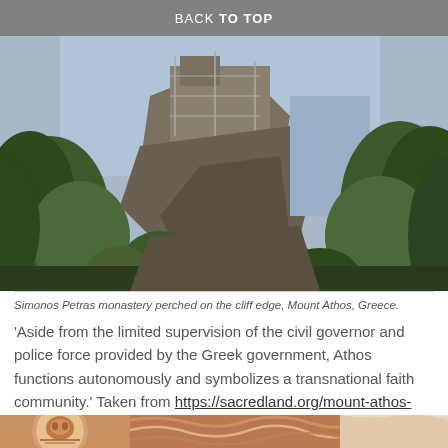BACK TO TOP
[Figure (photo): Simonos Petras monastery perched on the cliff edge, Mount Athos, Greece. View through trees showing monastery building on rocky cliff with blue sky and sea in background, scaffolding visible on the tower.]
Simonos Petras monastery perched on the cliff edge, Mount Athos, Greece.
'Aside from the limited supervision of the civil governor and police force provided by the Greek government, Athos functions autonomously and symbolizes a transnational faith community.' Taken from https://sacredland.org/mount-athos-greece/
[Figure (photo): Partial view of religious icon paintings showing circular and curved decorative elements in orange, red and white tones.]